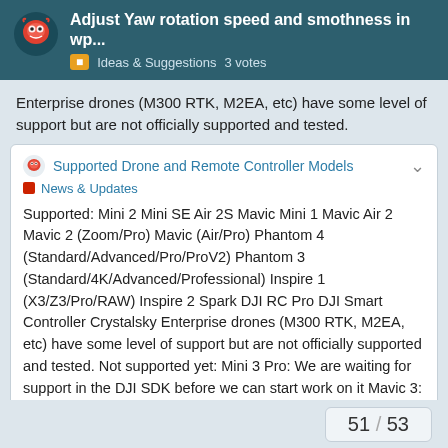Adjust Yaw rotation speed and smothness in wp... | Ideas & Suggestions  3 votes
Enterprise drones (M300 RTK, M2EA, etc) have some level of support but are not officially supported and tested.
Supported Drone and Remote Controller Models
News & Updates
Supported: Mini 2 Mini SE Air 2S Mavic Mini 1 Mavic Air 2 Mavic 2 (Zoom/Pro) Mavic (Air/Pro) Phantom 4 (Standard/Advanced/Pro/ProV2) Phantom 3 (Standard/4K/Advanced/Professional) Inspire 1 (X3/Z3/Pro/RAW) Inspire 2 Spark DJI RC Pro DJI Smart Controller Crystalsky Enterprise drones (M300 RTK, M2EA, etc) have some level of support but are not officially supported and tested. Not supported yet: Mini 3 Pro: We are waiting for support in the DJI SDK before we can start work on it Mavic 3: We ar…
51 / 53